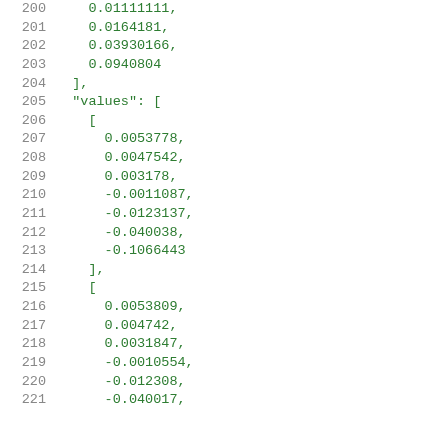Code listing lines 200-221 showing JSON array data with numeric values
200: 0.01111111,
201:     0.0164181,
202:     0.03930166,
203:     0.0940804
204: ],
205: "values": [
206:     [
207:         0.0053778,
208:         0.0047542,
209:         0.003178,
210:         -0.0011087,
211:         -0.0123137,
212:         -0.040038,
213:         -0.1066443
214:     ],
215:     [
216:         0.0053809,
217:         0.004742,
218:         0.0031847,
219:         -0.0010554,
220:         -0.012308,
221:         -0.040017,